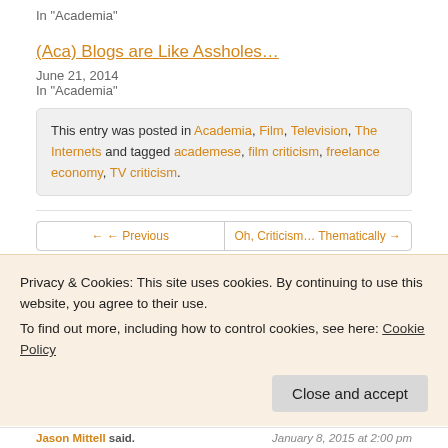In "Academia"
(Aca) Blogs are Like Assholes…
June 21, 2014
In "Academia"
This entry was posted in Academia, Film, Television, The Internets and tagged academese, film criticism, freelance economy, TV criticism.
← ← ← Previous · Oh, Criticism… Thematically →
Privacy & Cookies: This site uses cookies. By continuing to use this website, you agree to their use.
To find out more, including how to control cookies, see here: Cookie Policy
Jason Mittell said. · January 8, 2015 at 2:00 pm